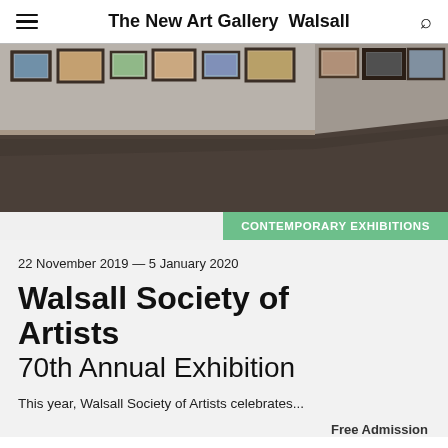The New Art Gallery Walsall
[Figure (photo): Interior of an art gallery showing framed artworks hanging on white walls, with a dark floor and corner perspective view.]
CONTEMPORARY EXHIBITIONS
22 November 2019 — 5 January 2020
Walsall Society of Artists 70th Annual Exhibition
This year, Walsall Society of Artists celebrates...
Free Admission